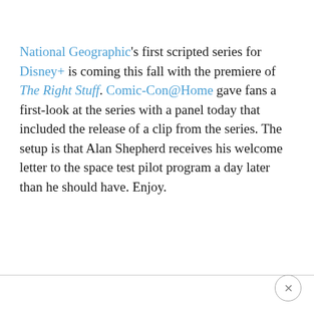National Geographic's first scripted series for Disney+ is coming this fall with the premiere of The Right Stuff. Comic-Con@Home gave fans a first-look at the series with a panel today that included the release of a clip from the series. The setup is that Alan Shepherd receives his welcome letter to the space test pilot program a day later than he should have. Enjoy.